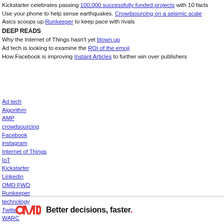Kickstarter celebrates passing 100,000 successfully funded projects with 10 facts
Use your phone to help sense earthquakes. Crowdsourcing on a seismic scale
Asics scoops up Runkeeper to keep pace with rivals
DEEP READS
Why the Internet of Things hasn't yet blown up
Ad tech is looking to examine the ROI of the emoji
How Facebook is improving Instant Articles to further win over publishers
Ad tech
Algorithm
AMP
crowdsourcing
Facebook
instagram
Internet of Things
IoT
Kickstarter
Linkedin
OMD FWD
Runkeeper
technology
Twitter
WARC
YouTube
OMD — Better decisions, faster.